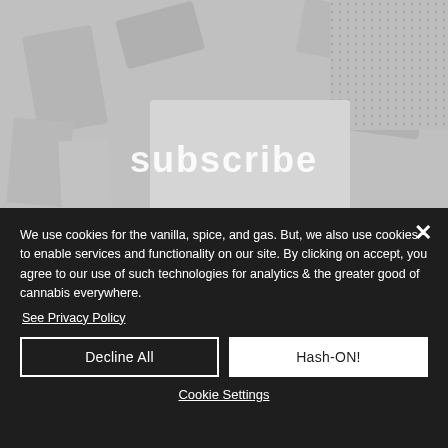[Figure (illustration): Greyscale background image showing cannabis packaging/products with a large 'subscribe' text watermark overlaid in white]
We use cookies for the vanilla, spice, and gas. But, we also use cookies to enable services and functionality on our site. By clicking on accept, you agree to our use of such technologies for analytics & the greater good of cannabis everywhere.
See Privacy Policy
Decline All
Hash-ON!
Cookie Settings